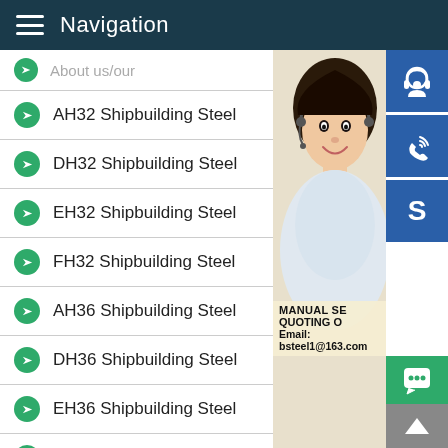Navigation
About us/our
AH32 Shipbuilding Steel
DH32 Shipbuilding Steel
EH32 Shipbuilding Steel
FH32 Shipbuilding Steel
AH36 Shipbuilding Steel
DH36 Shipbuilding Steel
EH36 Shipbuilding Steel
FH36 Shipbuilding Steel
AH40 Shipbuilding Steel
Corten A
Corten B
[Figure (screenshot): Customer service representative photo with blue icon buttons for headset/support, phone, and Skype, plus contact overlay text showing MANUAL SE, QUOTING O, Email: bsteel1@163.com]
MANUAL SE
QUOTING O
Email: bsteel1@163.com